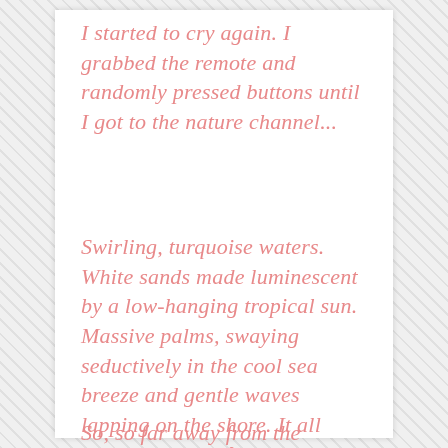I started to cry again. I grabbed the remote and randomly pressed buttons until I got to the nature channel...
Swirling, turquoise waters. White sands made luminescent by a low-hanging tropical sun. Massive palms, swaying seductively in the cool sea breeze and gentle waves lapping on the shore. It all looked so peaceful. So beautiful and, most importantly, so remote.
So, so far away from the